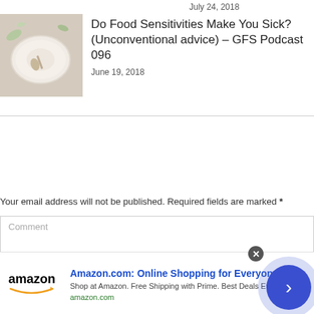July 24, 2018
[Figure (photo): A white bowl with a spoon on a light wooden surface with some green leaves]
Do Food Sensitivities Make You Sick? (Unconventional advice) – GFS Podcast 096
June 19, 2018
Your email address will not be published. Required fields are marked *
Comment
[Figure (infographic): Amazon advertisement banner: Amazon.com: Online Shopping for Everyone. Shop at Amazon. Free Shipping with Prime. Best Deals Ever! amazon.com]